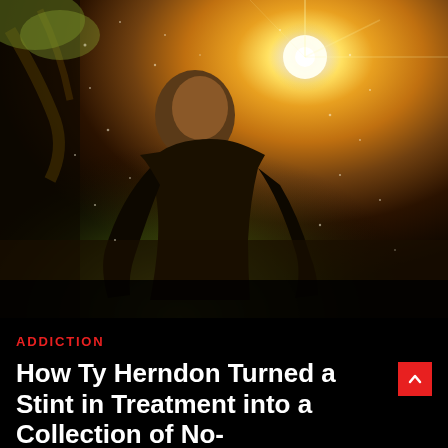[Figure (photo): A man in a black long-sleeve shirt outdoors in a forest setting with dramatic golden sunlight and lens flare behind him, rain or sparkle effects visible]
ADDICTION
How Ty Herndon Turned a Stint in Treatment into a Collection of No-